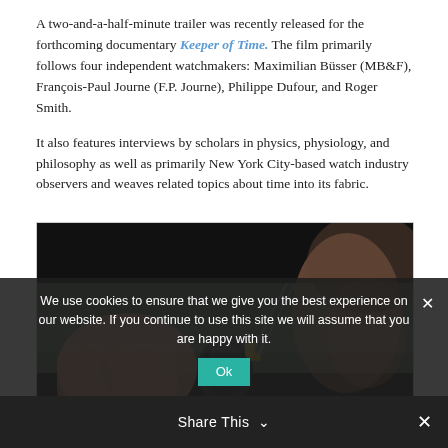A two-and-a-half-minute trailer was recently released for the forthcoming documentary Keeper of Time. The film primarily follows four independent watchmakers: Maximilian Büsser (MB&F), François-Paul Journe (F.P. Journe), Philippe Dufour, and Roger Smith.
It also features interviews by scholars in physics, physiology, and philosophy as well as primarily New York City-based watch industry observers and weaves related topics about time into its fabric.
[Figure (photo): A close-up photo of a watchmaker's hands working on a watch mechanism, dark background with blurred person in background.]
We use cookies to ensure that we give you the best experience on our website. If you continue to use this site we will assume that you are happy with it.
Share This